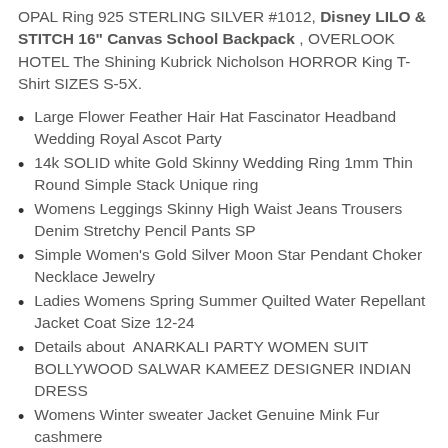OPAL Ring 925 STERLING SILVER #1012, Disney LILO & STITCH 16" Canvas School Backpack , OVERLOOK HOTEL The Shining Kubrick Nicholson HORROR King T-Shirt SIZES S-5X.
Large Flower Feather Hair Hat Fascinator Headband Wedding Royal Ascot Party
14k SOLID white Gold Skinny Wedding Ring 1mm Thin Round Simple Stack Unique ring
Womens Leggings Skinny High Waist Jeans Trousers Denim Stretchy Pencil Pants SP
Simple Women's Gold Silver Moon Star Pendant Choker Necklace Jewelry
Ladies Womens Spring Summer Quilted Water Repellant Jacket Coat Size 12-24
Details about  ANARKALI PARTY WOMEN SUIT BOLLYWOOD SALWAR KAMEEZ DESIGNER INDIAN DRESS
Womens Winter sweater Jacket Genuine Mink Fur cashmere